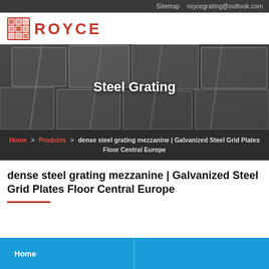Sitemap   roycegrating@outlook.com
[Figure (logo): Royce logo with red grid icon and red ROYCE text]
[Figure (photo): Close-up photo of steel grating grid structure with overlaid text 'Steel Grating']
Home > Products > dense steel grating mezzanine | Galvanized Steel Grid Plates Floor Central Europe
dense steel grating mezzanine | Galvanized Steel Grid Plates Floor Central Europe
Home